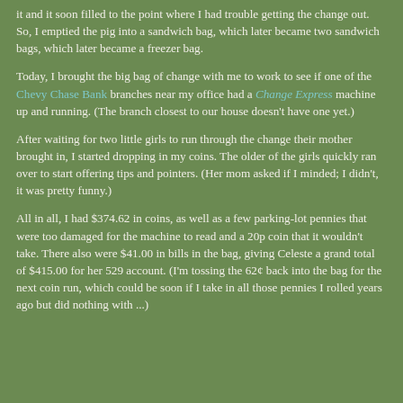it and it soon filled to the point where I had trouble getting the change out. So, I emptied the pig into a sandwich bag, which later became two sandwich bags, which later became a freezer bag.
Today, I brought the big bag of change with me to work to see if one of the Chevy Chase Bank branches near my office had a Change Express machine up and running. (The branch closest to our house doesn't have one yet.)
After waiting for two little girls to run through the change their mother brought in, I started dropping in my coins. The older of the girls quickly ran over to start offering tips and pointers. (Her mom asked if I minded; I didn't, it was pretty funny.)
All in all, I had $374.62 in coins, as well as a few parking-lot pennies that were too damaged for the machine to read and a 20p coin that it wouldn't take. There also were $41.00 in bills in the bag, giving Celeste a grand total of $415.00 for her 529 account. (I'm tossing the 62¢ back into the bag for the next coin run, which could be soon if I take in all those pennies I rolled years ago but did nothing with ...)